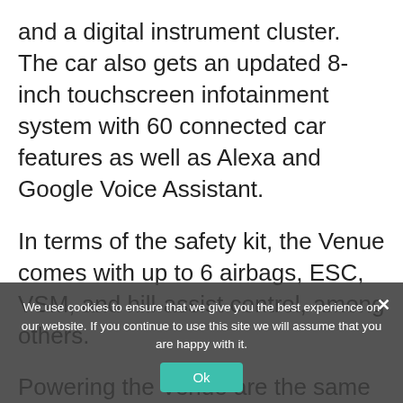and a digital instrument cluster. The car also gets an updated 8-inch touchscreen infotainment system with 60 connected car features as well as Alexa and Google Voice Assistant.
In terms of the safety kit, the Venue comes with up to 6 airbags, ESC, VSM, and hill-assist control, among others.
Powering the Venue are the same set of petrol and diesel engines. These include a 998cc turbo petrol with 118 BHP and 172 Nm, 1.2-litre petrol producing 82 BHP and 115 Nm and a 1.5-litre diesel that makes 99
We use cookies to ensure that we give you the best experience on our website. If you continue to use this site we will assume that you are happy with it.